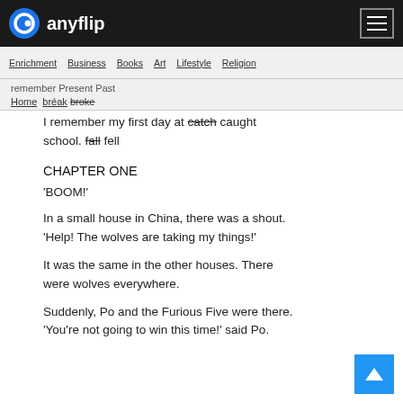anyflip
Enrichment  Business  Books  Art  Lifestyle  Religion
Home  remember Present Past  break/broke
I remember my first day at catch caught school. fall fell
CHAPTER ONE
'BOOM!'
In a small house in China, there was a shout. 'Help! The wolves are taking my things!'
It was the same in the other houses. There were wolves everywhere.
Suddenly, Po and the Furious Five were there. 'You're not going to win this time!' said Po.